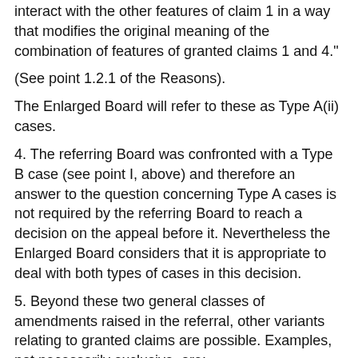interact with the other features of claim 1 in a way that modifies the original meaning of the combination of features of granted claims 1 and 4."
(See point 1.2.1 of the Reasons).
The Enlarged Board will refer to these as Type A(ii) cases.
4. The referring Board was confronted with a Type B case (see point I, above) and therefore an answer to the question concerning Type A cases is not required by the referring Board to reach a decision on the appeal before it. Nevertheless the Enlarged Board considers that it is appropriate to deal with both types of cases in this decision.
5. Beyond these two general classes of amendments raised in the referral, other variants relating to granted claims are possible. Examples, not necessarily exclusive, are:
(a) Deletion of an entire independent claim (usually with any dependent claims) leaving other independent claims (and their dependent claims) untouched, e.g. T 9/87 (OJ EPO